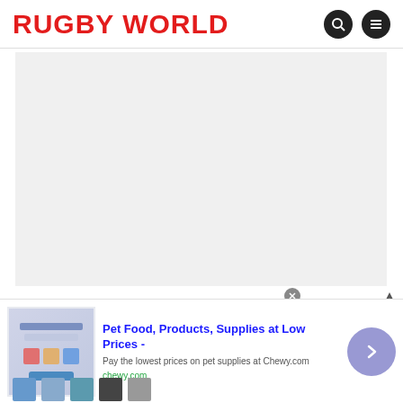RUGBY WORLD
[Figure (photo): Large light grey placeholder image area for Rugby World content]
Latest Issue
[Figure (infographic): Advertisement banner: Pet Food, Products, Supplies at Low Prices - Chewy.com. Pay the lowest prices on pet supplies at Chewy.com. chewy.com]